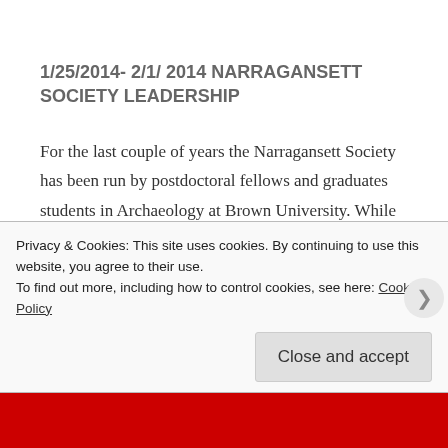1/25/2014- 2/1/ 2014 NARRAGANSETT SOCIETY LEADERSHIP
For the last couple of years the Narragansett Society has been run by postdoctoral fellows and graduates students in Archaeology at Brown University. While it is a pleasure and honor to serve at these positions we want to encourage colleagues from other institutions and interested
Privacy & Cookies: This site uses cookies. By continuing to use this website, you agree to their use.
To find out more, including how to control cookies, see here: Cookie Policy